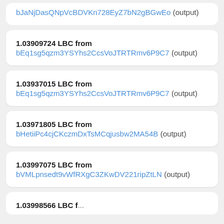bJaNjDasQNpVcBDVKn728EyZ7bN2gBGwEo (output)
1.03909724 LBC from bEq1sg5qzm3YSYhs2CcsVoJTRTRmv6P9C7 (output)
1.03937015 LBC from bEq1sg5qzm3YSYhs2CcsVoJTRTRmv6P9C7 (output)
1.03971805 LBC from bHetiiPc4cjCKczmDxTsMCqjusbw2MA54B (output)
1.03997075 LBC from bVMLpnsedt9vWfRXgC3ZKwDV221ripZtLN (output)
1.03998566 LBC from ...